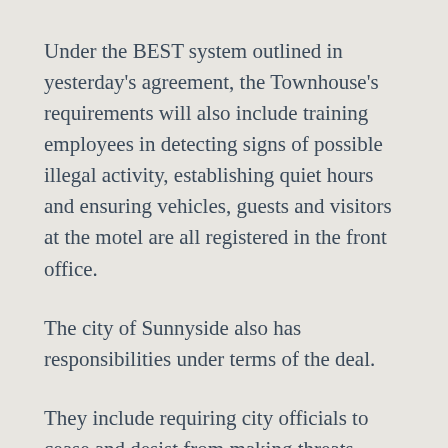Under the BEST system outlined in yesterday's agreement, the Townhouse's requirements will also include training employees in detecting signs of possible illegal activity, establishing quiet hours and ensuring vehicles, guests and visitors at the motel are all registered in the front office.
The city of Sunnyside also has responsibilities under terms of the deal.
They include requiring city officials to cease and desist from making threats against the Kims, contacting the couple if there is a perceived problem with a tenant prior to